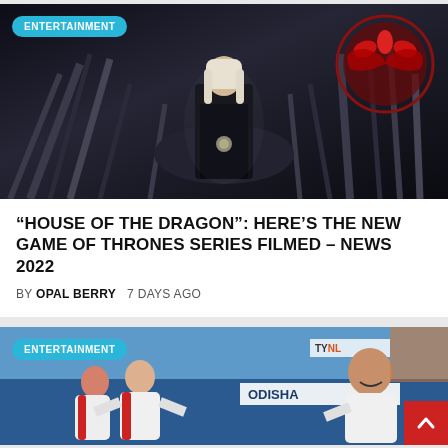[Figure (photo): A character in dark robes with white hair standing in front of the Iron Throne with a Targaryen dragon sigil in the background. Badge reads ENTERTAINMENT.]
“HOUSE OF THE DRAGON”: HERE’S THE NEW GAME OF THRONES SERIES FILMED – NEWS 2022
BY OPAL BERRY   7 DAYS AGO
[Figure (photo): Hockey players celebrating with a coach, with ODISHA sponsorship banner visible. Badge reads ENTERTAINMENT.]